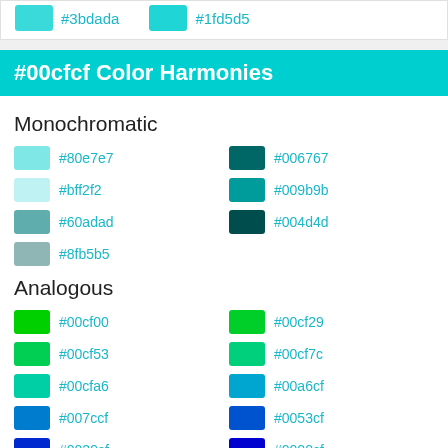#3bdada  #1fd5d5
#00cfcf Color Harmonies
Monochromatic
#80e7e7
#006767
#bff2f2
#009b9b
#60adad
#004d4d
#8fb5b5
Analogous
#00cf00
#00cf29
#00cf53
#00cf7c
#00cfa6
#00a6cf
#007ccf
#0053cf
#0029cf
#0000cf